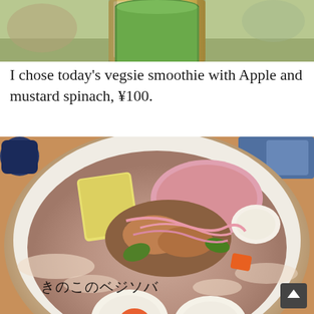[Figure (photo): Top portion of a green smoothie drink in a glass, cropped to show only the upper part against a blurred background]
I chose today's vegsie smoothie with Apple and mustard spinach, ¥100.
[Figure (photo): A bowl of Japanese mushroom veg soba (きのこのベジソバ) with ramen-style broth, topped with mushrooms, vegetables, a soft-boiled egg, ham, and what appears to be a piece of pineapple or cheese, drizzled with pink sauce]